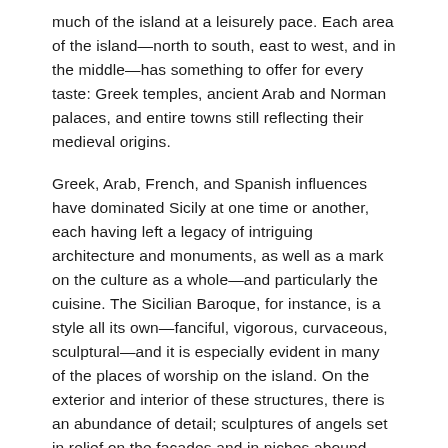much of the island at a leisurely pace. Each area of the island—north to south, east to west, and in the middle—has something to offer for every taste: Greek temples, ancient Arab and Norman palaces, and entire towns still reflecting their medieval origins.
Greek, Arab, French, and Spanish influences have dominated Sicily at one time or another, each having left a legacy of intriguing architecture and monuments, as well as a mark on the culture as a whole—and particularly the cuisine. The Sicilian Baroque, for instance, is a style all its own—fanciful, vigorous, curvaceous, sculptural—and it is especially evident in many of the places of worship on the island. On the exterior and interior of these structures, there is an abundance of detail; sculptures of angels set in relief on the façades and in niches abound.